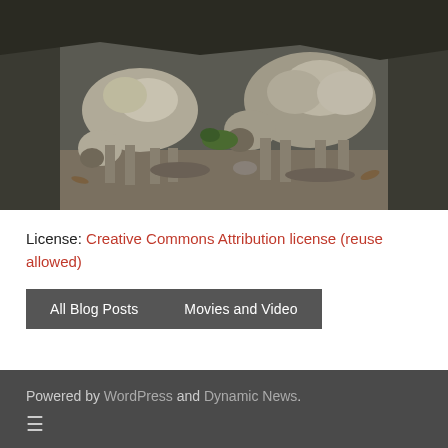[Figure (photo): Two sheep grazing or eating vegetation near a rocky/mossy cliff or overhang, photographed outdoors on a dirt/gravel ground.]
License: Creative Commons Attribution license (reuse allowed)
All Blog Posts
Movies and Video
Powered by WordPress and Dynamic News.